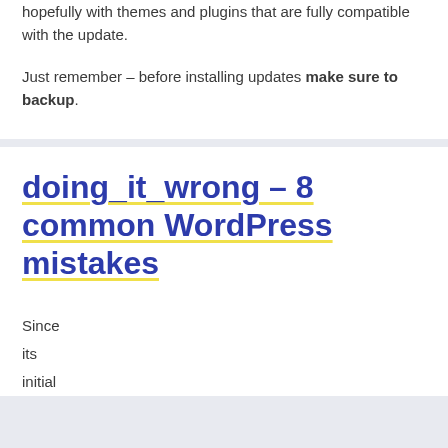hopefully with themes and plugins that are fully compatible with the update.

Just remember – before installing updates make sure to backup.
doing_it_wrong – 8 common WordPress mistakes
Since
its
initial